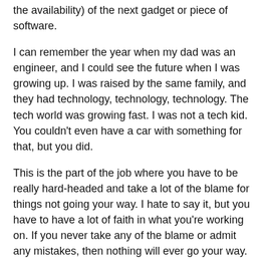the availability) of the next gadget or piece of software.
I can remember the year when my dad was an engineer, and I could see the future when I was growing up. I was raised by the same family, and they had technology, technology, technology. The tech world was growing fast. I was not a tech kid. You couldn't even have a car with something for that, but you did.
This is the part of the job where you have to be really hard-headed and take a lot of the blame for things not going your way. I hate to say it, but you have to have a lot of faith in what you're working on. If you never take any of the blame or admit any mistakes, then nothing will ever go your way.
Many of the decisions that we make can be traced back to a lot of very specific technology that used to be around, or even just that they were in the tech world. For example, the way the car was designed was made for the space shuttle.